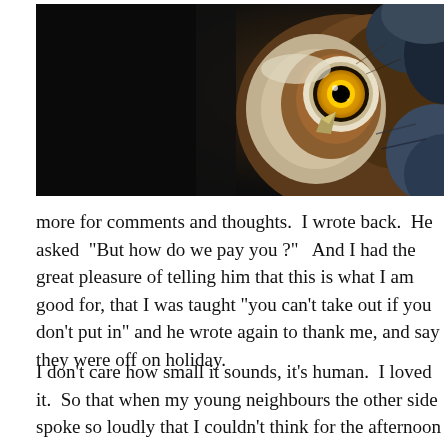[Figure (photo): Close-up photograph of a great horned owl showing one large yellow eye, brown and white facial feathers, against a dark background.]
more for comments and thoughts.  I wrote back.  He asked  “But how do we pay you ?”   And I had the great pleasure of telling him that this is what I am good for, that I was taught “you can’t take out if you don’t put in” and he wrote again to thank me, and say they were off on holiday.
I don’t care how small it sounds, it’s human.  I loved it.  So that when my young neighbours the other side spoke so loudly that I couldn’t think for the afternoon – we got past